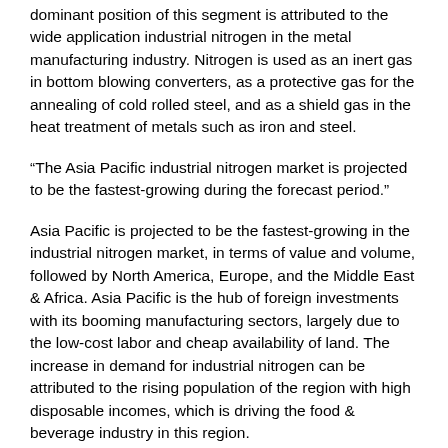dominant position of this segment is attributed to the wide application industrial nitrogen in the metal manufacturing industry. Nitrogen is used as an inert gas in bottom blowing converters, as a protective gas for the annealing of cold rolled steel, and as a shield gas in the heat treatment of metals such as iron and steel.
“The Asia Pacific industrial nitrogen market is projected to be the fastest-growing during the forecast period.”
Asia Pacific is projected to be the fastest-growing in the industrial nitrogen market, in terms of value and volume, followed by North America, Europe, and the Middle East & Africa. Asia Pacific is the hub of foreign investments with its booming manufacturing sectors, largely due to the low-cost labor and cheap availability of land. The increase in demand for industrial nitrogen can be attributed to the rising population of the region with high disposable incomes, which is driving the food & beverage industry in this region.